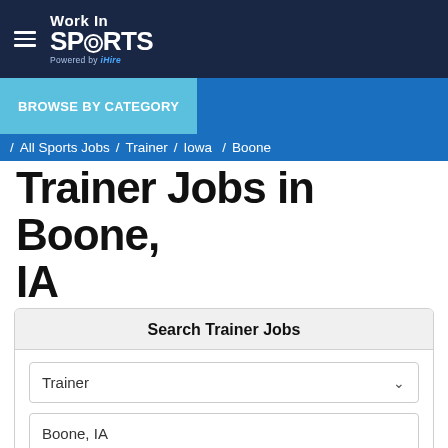Work In SPORTS — site header with navigation hamburger and logo
BROWSE BY CATEGORY / All Sports Jobs / Trainer / Iowa / Boone
Trainer Jobs in Boone, IA
Search Trainer Jobs
Trainer (dropdown), Boone, IA (location input), SEARCH button